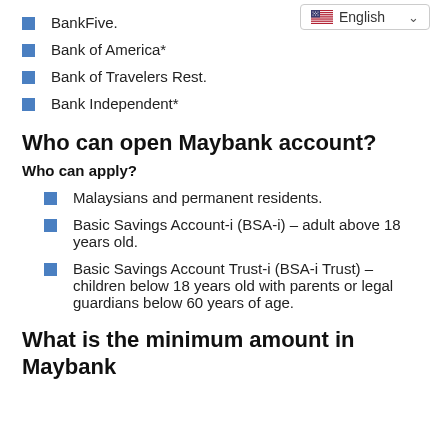BankFive.
Bank of America*
Bank of Travelers Rest.
Bank Independent*
Who can open Maybank account?
Who can apply?
Malaysians and permanent residents.
Basic Savings Account-i (BSA-i) – adult above 18 years old.
Basic Savings Account Trust-i (BSA-i Trust) – children below 18 years old with parents or legal guardians below 60 years of age.
What is the minimum amount in Maybank